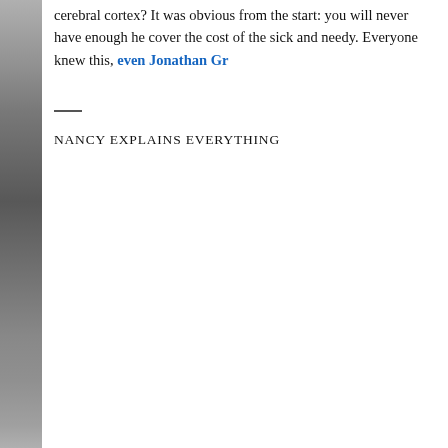cerebral cortex? It was obvious from the start: you will never have enough he cover the cost of the sick and needy. Everyone knew this, even Jonathan Gr
NANCY EXPLAINS EVERYTHING
[Figure (other): Loading spinner icon (circular dashed spinner) centered in lower portion of page]